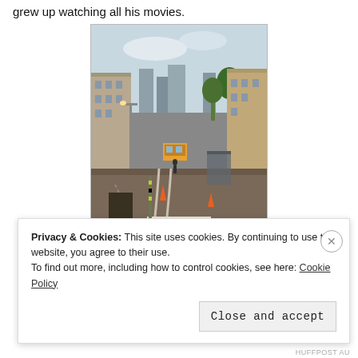grew up watching all his movies.
[Figure (photo): Street scene with tram tracks curving through a pedestrian area, urban buildings and trees on both sides, city skyline visible in background, construction cones visible, overcast sky.]
Privacy & Cookies: This site uses cookies. By continuing to use this website, you agree to their use.
To find out more, including how to control cookies, see here: Cookie Policy
Close and accept